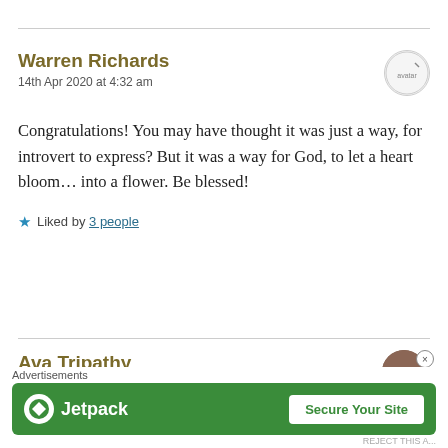Warren Richards
14th Apr 2020 at 4:32 am
Congratulations! You may have thought it was just a way, for introvert to express? But it was a way for God, to let a heart bloom… into a flower. Be blessed!
Liked by 3 people
Reply
Ava Tripathy
Advertisements
[Figure (screenshot): Jetpack advertisement banner with green background, Jetpack logo and 'Secure Your Site' button]